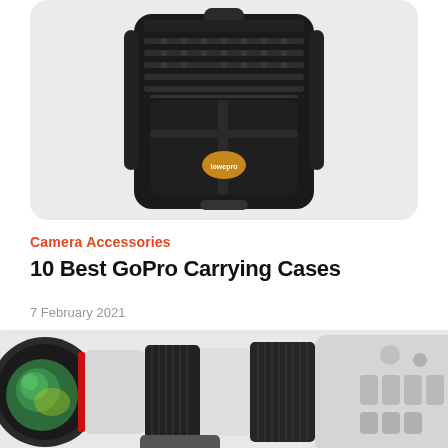[Figure (photo): Black Lowepro camera backpack with MOLLE straps and buckles on a light grey rounded-corner card background]
Camera Accessories
10 Best GoPro Carrying Cases
7 February 2021
[Figure (photo): Large white Canon telephoto lens (400mm or 500mm) with green-coated front element, red ring, and black ribbed focus/zoom rings, mounted on a white camera body with control buttons, on a tripod foot, against white background]